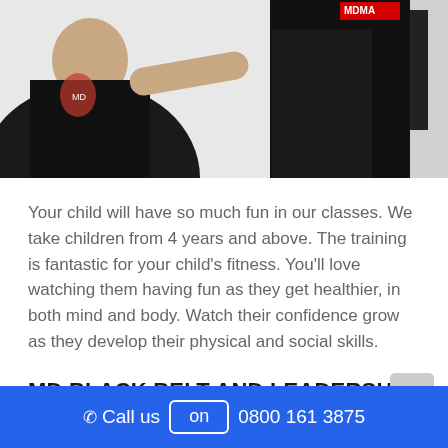[Figure (photo): Martial arts instructor instructing a child in a dojo; instructor in black t-shirt on left, child in black uniform with white belt on right]
Your child will have so much fun in our classes. We take children from 4 years and above. The training is fantastic for your child's fitness. You'll love watching them having fun as they get healthier, in both mind and body. Watch their confidence grow as they develop their physical and social skills.
MD BLACK BELT AND LEADERSHIP PROGRAMME
Call us on 0800 161 3875